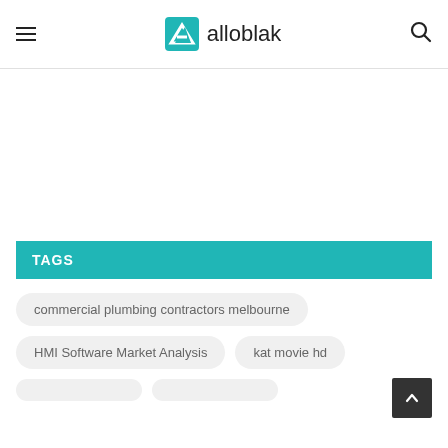alloblak
TAGS
commercial plumbing contractors melbourne
HMI Software Market Analysis
kat movie hd